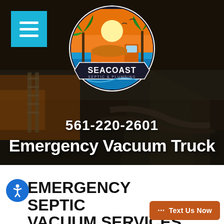[Figure (screenshot): Hero banner background showing a septic/vacuum truck scene, darkened with overlay]
[Figure (logo): Seacoast Septic & Plumbing circular logo with truck, palm trees, sunset, orange and blue colors]
561-220-2601
Emergency Vacuum Truck
EMERGENCY SEPTIC VACUUM SERVICES IN WEST